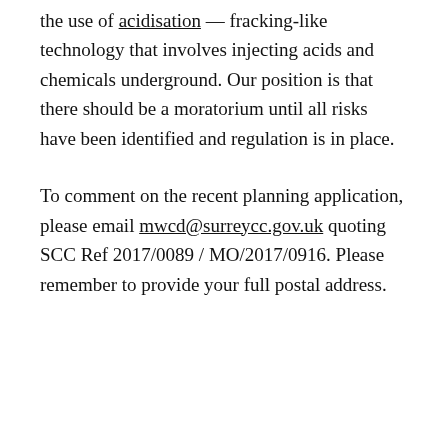the use of acidisation — fracking-like technology that involves injecting acids and chemicals underground. Our position is that there should be a moratorium until all risks have been identified and regulation is in place.
To comment on the recent planning application, please email mwcd@surreycc.gov.uk quoting SCC Ref 2017/0089 / MO/2017/0916. Please remember to provide your full postal address.